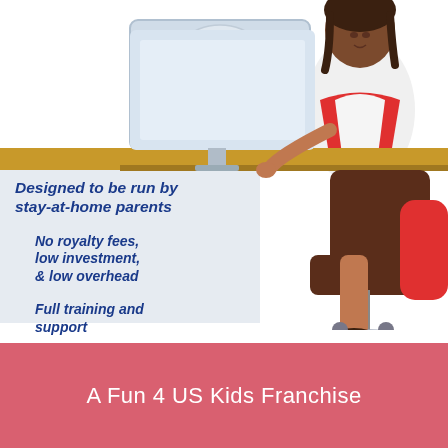[Figure (illustration): Fun 4 US Kids franchise logo and illustration of a woman sitting at a desk with a computer showing the KiDS logo. Gold horizontal bar separates upper and lower sections. Light blue background panel on left side with bullet point text.]
Designed to be run by stay-at-home parents
No royalty fees, low investment, & low overhead
Full training and support
A Fun 4 US Kids Franchise